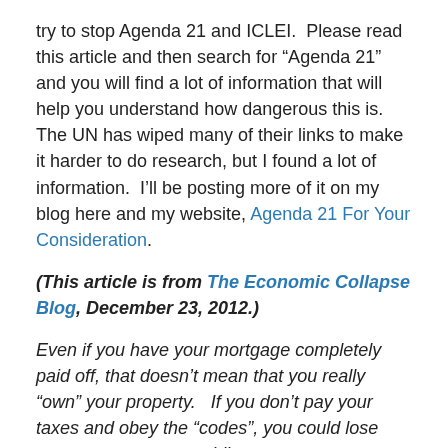try to stop Agenda 21 and ICLEI.  Please read this article and then search for “Agenda 21” and you will find a lot of information that will help you understand how dangerous this is.  The UN has wiped many of their links to make it harder to do research, but I found a lot of information.  I’ll be posting more of it on my blog here and my website, Agenda 21 For Your Consideration.
(This article is from The Economic Collapse Blog, December 23, 2012.)
Even if you have your mortgage completely paid off, that doesn’t mean that you really “own” your property.   If you don’t pay your taxes and obey the “codes”, you could lose your property very rapidly.
The philosophy behind all of this is the same philosophy